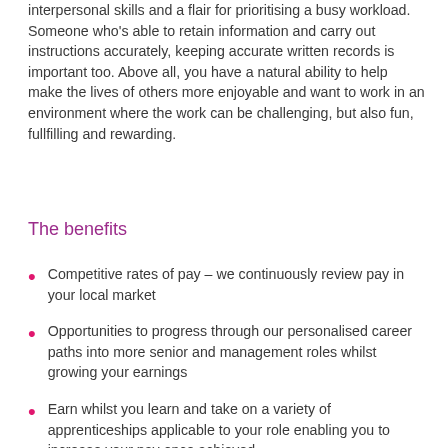interpersonal skills and a flair for prioritising a busy workload. Someone who's able to retain information and carry out instructions accurately, keeping accurate written records is important too. Above all, you have a natural ability to help make the lives of others more enjoyable and want to work in an environment where the work can be challenging, but also fun, fullfilling and rewarding.
The benefits
Competitive rates of pay – we continuously review pay in your local market
Opportunities to progress through our personalised career paths into more senior and management roles whilst growing your earnings
Earn whilst you learn and take on a variety of apprenticeships applicable to your role enabling you to increase your pay once achieved